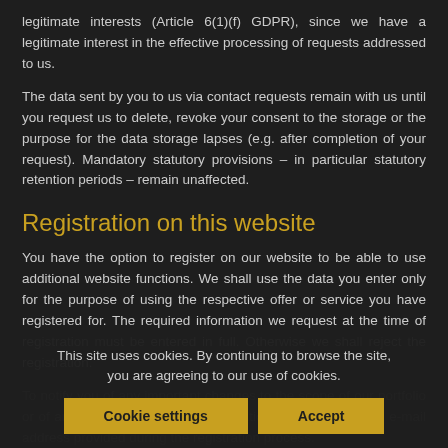legitimate interests (Article 6(1)(f) GDPR), since we have a legitimate interest in the effective processing of requests addressed to us.
The data sent by you to us via contact requests remain with us until you request us to delete, revoke your consent to the storage or the purpose for the data storage lapses (e.g. after completion of your request). Mandatory statutory provisions – in particular statutory retention periods – remain unaffected.
Registration on this website
You have the option to register on our website to be able to use additional website functions. We shall use the data you enter only for the purpose of using the respective offer or service you have registered for. The required information we request at the time of registration must be entered in full. Otherwise we shall reject the registration.
To notify you of any important changes to the scope of our portfolio or of any important technical modifications, we shall use the e-mail address provided during the registration process.
We shall process the data entered during the registration
This site uses cookies. By continuing to browse the site, you are agreeing to our use of cookies.